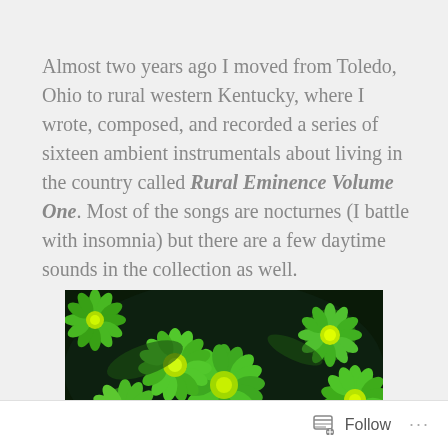Almost two years ago I moved from Toledo, Ohio to rural western Kentucky, where I wrote, composed, and recorded a series of sixteen ambient instrumentals about living in the country called Rural Eminence Volume One. Most of the songs are nocturnes (I battle with insomnia) but there are a few daytime sounds in the collection as well.
[Figure (photo): Close-up photograph of bright green chrysanthemum flowers against a dark background, showing multiple blooms with layered petals.]
Follow ···